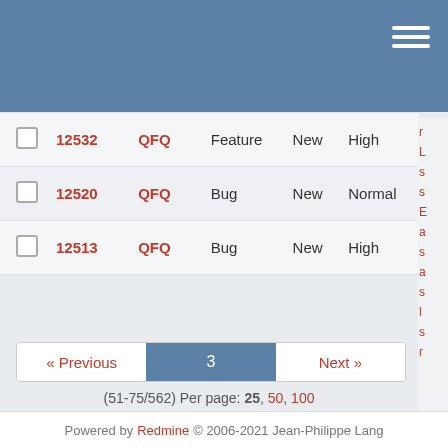|  | # | Project | Type | Status | Priority |
| --- | --- | --- | --- | --- | --- |
|  | 12532 | QFQ | Feature | New | High |
|  | 12520 | QFQ | Bug | New | Normal |
|  | 12513 | QFQ | Bug | New | High |
« Previous  3  Next »
(51-75/562) Per page: 25, 50, 100
Also available in: Atom | CSV | PDF
Powered by Redmine © 2006-2021 Jean-Philippe Lang